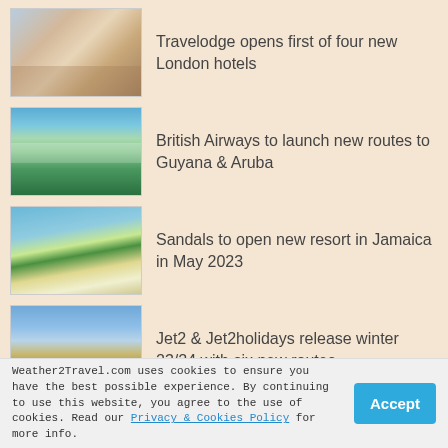[Figure (photo): Hotel room interior with bed, pillows, and window]
Travelodge opens first of four new London hotels
[Figure (photo): Aerial view of tropical beach with turquoise water and palm trees]
British Airways to launch new routes to Guyana & Aruba
[Figure (photo): Sandy beach with clear blue water and lush green hills]
Sandals to open new resort in Jamaica in May 2023
[Figure (photo): Coastal city promenade with palm trees and beach]
Jet2 & Jet2holidays release winter 23/24 with six new routes
Weather2Travel.com uses cookies to ensure you have the best possible experience. By continuing to use this website, you agree to the use of cookies. Read our Privacy & Cookies Policy for more info.